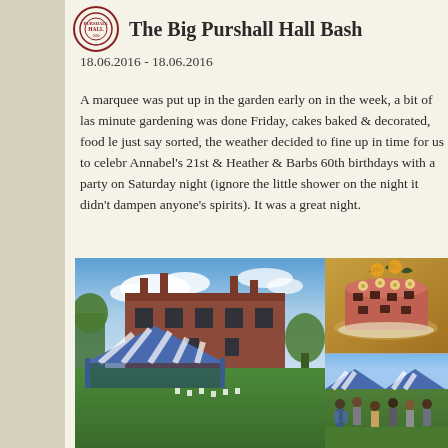The Big Purshall Hall Bash
18.06.2016 - 18.06.2016
A marquee was put up in the garden early on in the week, a bit of last minute gardening was done Friday, cakes baked & decorated, food le just say sorted, the weather decided to fine up in time for us to celebrate Annabel's 21st & Heather & Barbs 60th birthdays with a party on Saturday night (ignore the little shower on the night it didn't dampen anyone's spirits). It was a great night.
[Figure (photo): Collage of three photos: large photo of Purshall Hall with a blue and white marquee on the lawn under blue sky; top-right photo of a decorated birthday cake with chocolate decorations; bottom-right photo of party guests gathered under marquee canopies.]